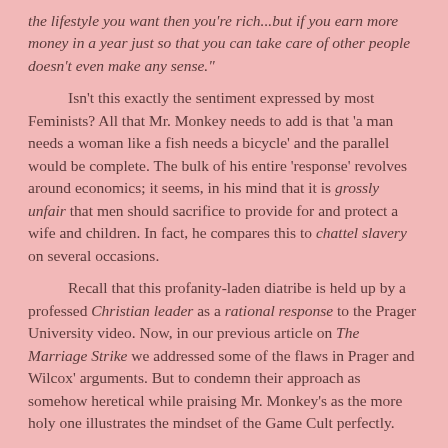the lifestyle you want then you're rich...but if you earn more money in a year just so that you can take care of other people doesn't even make any sense."
Isn't this exactly the sentiment expressed by most Feminists? All that Mr. Monkey needs to add is that 'a man needs a woman like a fish needs a bicycle' and the parallel would be complete. The bulk of his entire 'response' revolves around economics; it seems, in his mind that it is grossly unfair that men should sacrifice to provide for and protect a wife and children. In fact, he compares this to chattel slavery on several occasions.
Recall that this profanity-laden diatribe is held up by a professed Christian leader as a rational response to the Prager University video. Now, in our previous article on The Marriage Strike we addressed some of the flaws in Prager and Wilcox' arguments. But to condemn their approach as somehow heretical while praising Mr. Monkey's as the more holy one illustrates the mindset of the Game Cult perfectly.
Mr. Monkey leads off by claiming that men are avoiding marriage and that women are desperately trying to marry. In our